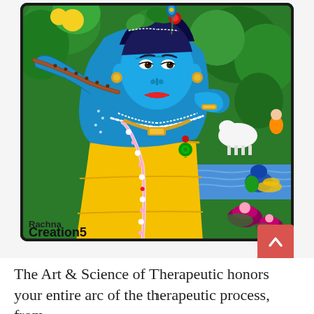[Figure (illustration): Indian folk art painting of Lord Krishna playing flute, depicted with blue skin, wearing a yellow dhoti and flower garlands. Background shows green trees, cows, a peacock, a river with lotus flowers. Bottom left corner has text 'Rachna Creations' as artist signature/watermark.]
The Art & Science of Therapeutic honors your entire arc of the therapeutic process, from...